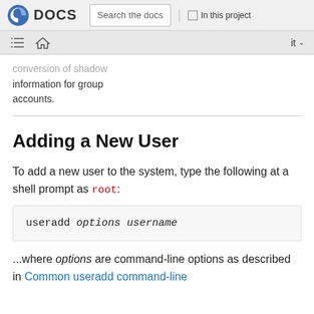Fedora DOCS | Search the docs | In this project | it
conversion of shadow information for group accounts.
Adding a New User
To add a new user to the system, type the following at a shell prompt as root:
useradd options username
...where options are command-line options as described in Common useradd command-line